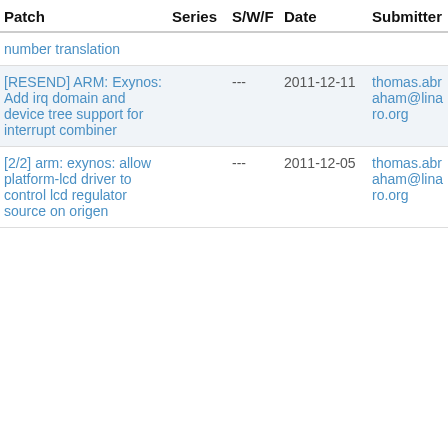| Patch | Series | S/W/F | Date | Submitter |
| --- | --- | --- | --- | --- |
| number translation |  |  |  |  |
| [RESEND] ARM: Exynos: Add irq domain and device tree support for interrupt combiner |  | --- | 2011-12-11 | thomas.abraham@linaro.org |
| [2/2] arm: exynos: allow platform-lcd driver to control lcd regulator source on origen |  | --- | 2011-12-05 | thomas.abraham@linaro.org |